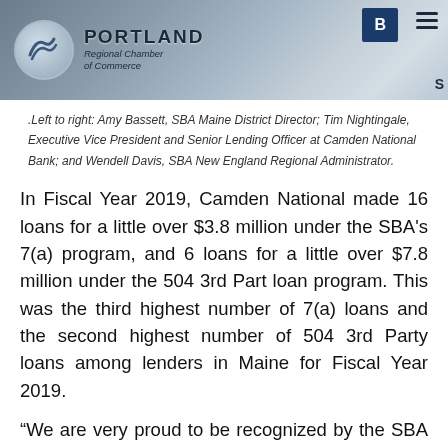[Figure (photo): Header image showing Portland Regional Chamber of Commerce logo with people in background, partially cropped]
.Left to right: Amy Bassett, SBA Maine District Director; Tim Nightingale, Executive Vice President and Senior Lending Officer at Camden National Bank; and Wendell Davis, SBA New England Regional Administrator.
In Fiscal Year 2019, Camden National made 16 loans for a little over $3.8 million under the SBA’s 7(a) program, and 6 loans for a little over $7.8 million under the 504 3rd Part loan program. This was the third highest number of 7(a) loans and the second highest number of 504 3rd Party loans among lenders in Maine for Fiscal Year 2019.
“We are very proud to be recognized by the SBA for our strong partnership and commitment to helping small